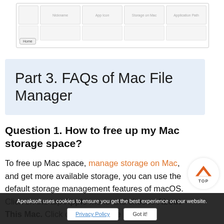[Figure (screenshot): Partial screenshot of a Mac File Manager interface showing a table/grid with column headers and a Home button]
Part 3. FAQs of Mac File Manager
Question 1. How to free up my Mac storage space?
To free up Mac space, manage storage on Mac, and get more available storage, you can use the default storage management features of macOS. Click on the top Apple menu and choose About This Mac. Click on the Storage
Apeaksoft uses cookies to ensure you get the best experience on our website.
Privacy Policy    Got it!